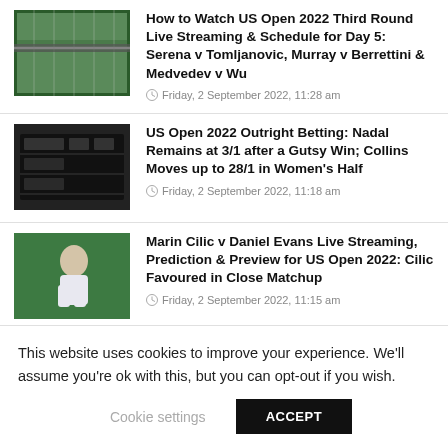[Figure (photo): Tennis net close-up photo with green court background]
How to Watch US Open 2022 Third Round Live Streaming & Schedule for Day 5: Serena v Tomljanovic, Murray v Berrettini & Medvedev v Wu
Friday, 2 September 2022, 11:28 am
[Figure (photo): Tennis scoreboard/statistics screen photo]
US Open 2022 Outright Betting: Nadal Remains at 3/1 after a Gutsy Win; Collins Moves up to 28/1 in Women's Half
Friday, 2 September 2022, 11:18 am
[Figure (photo): Marin Cilic tennis player photo on green court]
Marin Cilic v Daniel Evans Live Streaming, Prediction & Preview for US Open 2022: Cilic Favoured in Close Matchup
Friday, 2 September 2022, 11:15 am
This website uses cookies to improve your experience. We'll assume you're ok with this, but you can opt-out if you wish.